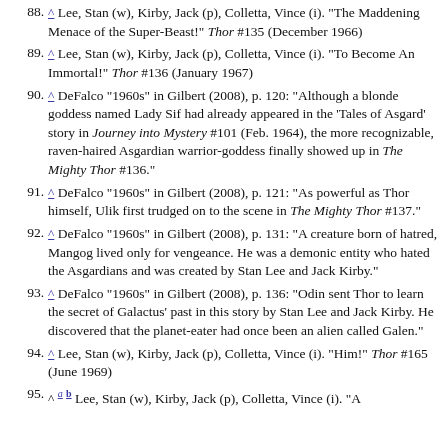88. ^ Lee, Stan (w), Kirby, Jack (p), Colletta, Vince (i). "The Maddening Menace of the Super-Beast!" Thor #135 (December 1966)
89. ^ Lee, Stan (w), Kirby, Jack (p), Colletta, Vince (i). "To Become An Immortal!" Thor #136 (January 1967)
90. ^ DeFalco "1960s" in Gilbert (2008), p. 120: "Although a blonde goddess named Lady Sif had already appeared in the 'Tales of Asgard' story in Journey into Mystery #101 (Feb. 1964), the more recognizable, raven-haired Asgardian warrior-goddess finally showed up in The Mighty Thor #136."
91. ^ DeFalco "1960s" in Gilbert (2008), p. 121: "As powerful as Thor himself, Ulik first trudged on to the scene in The Mighty Thor #137."
92. ^ DeFalco "1960s" in Gilbert (2008), p. 131: "A creature born of hatred, Mangog lived only for vengeance. He was a demonic entity who hated the Asgardians and was created by Stan Lee and Jack Kirby."
93. ^ DeFalco "1960s" in Gilbert (2008), p. 136: "Odin sent Thor to learn the secret of Galactus' past in this story by Stan Lee and Jack Kirby. He discovered that the planet-eater had once been an alien called Galen."
94. ^ Lee, Stan (w), Kirby, Jack (p), Colletta, Vince (i). "Him!" Thor #165 (June 1969)
95. ^ a b Lee, Stan (w), Kirby, Jack (p), Colletta, Vince (i). "A..."